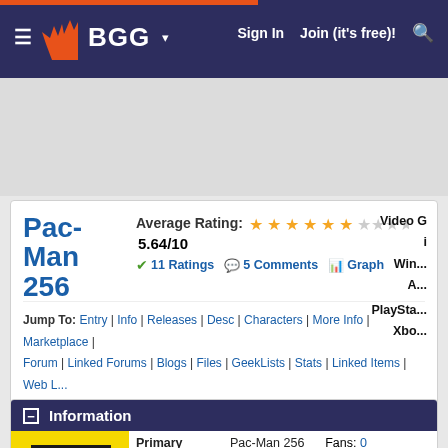BGG navigation bar with Sign In, Join (it's free)!, and search
Pac-Man 256
Average Rating: 5.64/10 | 11 Ratings | 5 Comments | Graph
Video G... i... Win... A... PlayStation Xbo...
Jump To: Entry | Info | Releases | Desc | Characters | More Info | Marketplace | Forum | Linked Forums | Blogs | Files | GeekLists | Stats | Linked Items | Web L... Info
Information
| Field | Value |
| --- | --- |
| Primary Name | Pac-Man 256 |
| Alternate Names |  |